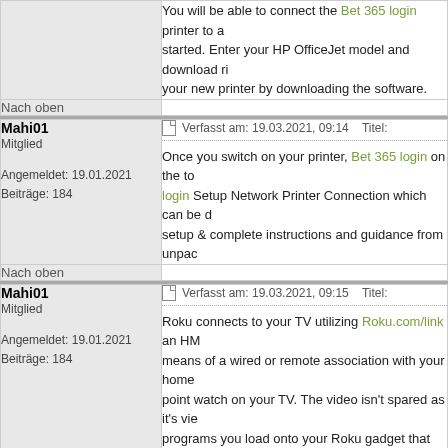You will be able to connect the Bet 365 login printer to a... started. Enter your HP OfficeJet model and download ri... your new printer by downloading the software.
Nach oben
Mahi01
Mitglied
Angemeldet: 19.01.2021
Beiträge: 184
Verfasst am: 19.03.2021, 09:14    Titel:
Once you switch on your printer, Bet 365 login on the to... login Setup Network Printer Connection which can be d... setup & complete instructions and guidance from unpac...
Nach oben
Mahi01
Mitglied
Angemeldet: 19.01.2021
Beiträge: 184
Verfasst am: 19.03.2021, 09:15    Titel:
Roku connects to your TV utilizing Roku.com/link an HM... means of a wired or remote association with your home... point watch on your TV. The video isn't spared as it's vie... programs you load onto your Roku gadget that give you... phone or tablet. My roku com connect not working utilize... excitement to your TV. With a large number of accessible...

Roku enables you to watch free and Roku.com/link pai... record enter Roku com connection code showed on Rok... There are five set-top gushing boxes, the Roku Ultra, Ro...